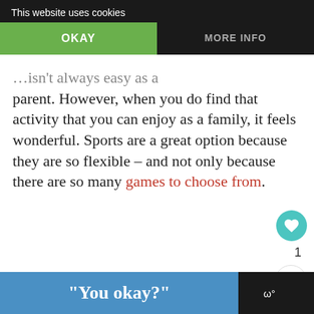Enjoy A Shared Passion
This website uses cookies
OKAY
MORE INFO
...isn't always easy as a parent. However, when you do find that activity that you can enjoy as a family, it feels wonderful. Sports are a great option because they are so flexible – and not only because there are so many games to choose from.
From athletics to ball games, there should be something for everyone. Simply watching your child have fun at Little League is one of the most
[Figure (infographic): What's Next widget showing a soccer/sports related image with text 'A Guide To Why All...']
"You okay?"